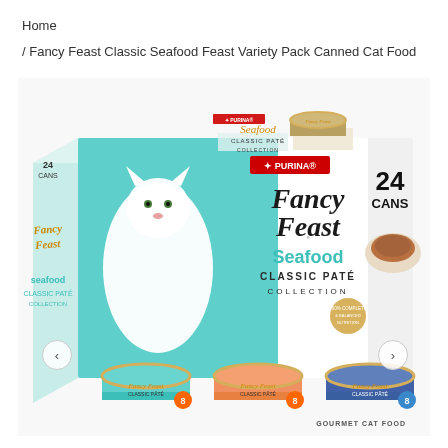Home
/ Fancy Feast Classic Seafood Feast Variety Pack Canned Cat Food
[Figure (photo): Purina Fancy Feast Seafood Classic Paté Collection 24 Cans variety pack box. The box is teal/white with a white cat and shows three individual Fancy Feast cans at the bottom (8 cans each): teal label, orange label, blue label. Navigation arrows on left and right sides. Text on box: PURINA Fancy Feast Seafood CLASSIC PATÉ COLLECTION, 24 CANS, GOURMET CAT FOOD.]